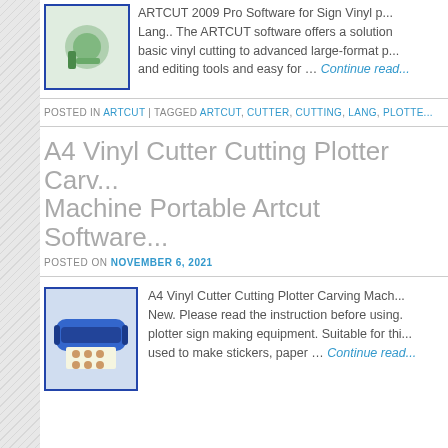[Figure (photo): Thumbnail image of ARTCUT software product with green/teal items on white background, blue border]
ARTCUT 2009 Pro Software for Sign Vinyl p... Lang.. The ARTCUT software offers a solution basic vinyl cutting to advanced large-format p... and editing tools and easy for … Continue read...
POSTED IN ARTCUT | TAGGED ARTCUT, CUTTER, CUTTING, LANG, PLOTTE...
A4 Vinyl Cutter Cutting Plotter Carving Machine Portable Artcut Software...
POSTED ON NOVEMBER 6, 2021
[Figure (photo): Thumbnail image of A4 vinyl cutter/plotter machine (blue device) cutting sticker sheets, blue border]
A4 Vinyl Cutter Cutting Plotter Carving Mach... New. Please read the instruction before using. plotter sign making equipment. Suitable for thi... used to make stickers, paper … Continue read...